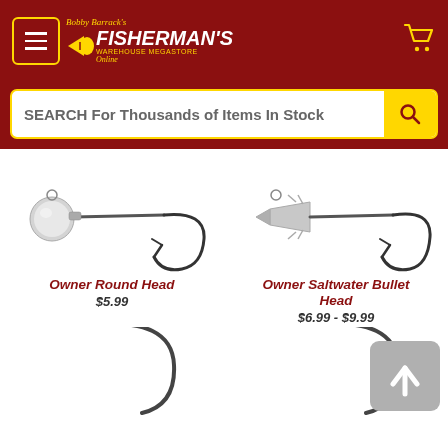Bobby Barrack's Fisherman's Warehouse Megastore Online
SEARCH For Thousands of Items In Stock
[Figure (photo): Owner Round Head jig hook with round silver ball head]
Owner Round Head
$5.99
[Figure (photo): Owner Saltwater Bullet Head jig hook with bullet-shaped silver head]
Owner Saltwater Bullet Head
$6.99 - $9.99
[Figure (photo): Partial view of a fishing hook (bottom, cropped)]
[Figure (photo): Partial view of a fishing hook (bottom right, cropped)]